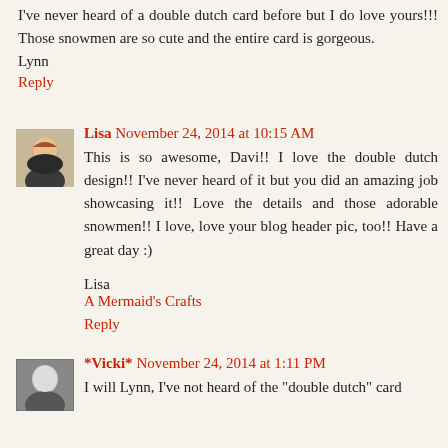I've never heard of a double dutch card before but I do love yours!!! Those snowmen are so cute and the entire card is gorgeous.
Lynn
Reply
Lisa November 24, 2014 at 10:15 AM
This is so awesome, Davi!! I love the double dutch design!! I've never heard of it but you did an amazing job showcasing it!! Love the details and those adorable snowmen!! I love, love your blog header pic, too!! Have a great day :)
Lisa
A Mermaid's Crafts
Reply
*Vicki* November 24, 2014 at 1:11 PM
I will Lynn, I've not heard of the "double dutch" card